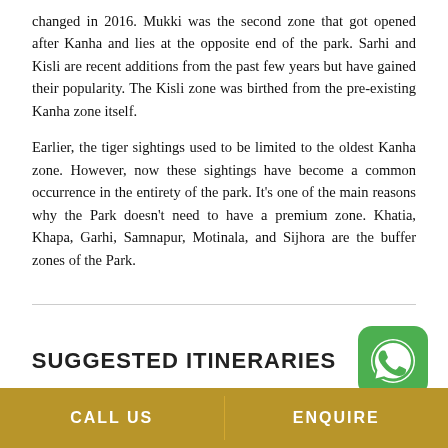changed in 2016. Mukki was the second zone that got opened after Kanha and lies at the opposite end of the park. Sarhi and Kisli are recent additions from the past few years but have gained their popularity. The Kisli zone was birthed from the pre-existing Kanha zone itself.
Earlier, the tiger sightings used to be limited to the oldest Kanha zone. However, now these sightings have become a common occurrence in the entirety of the park. It's one of the main reasons why the Park doesn't need to have a premium zone. Khatia, Khapa, Garhi, Samnapur, Motinala, and Sijhora are the buffer zones of the Park.
SUGGESTED ITINERARIES
[Figure (logo): WhatsApp green circular logo button]
CALL US   ENQUIRE